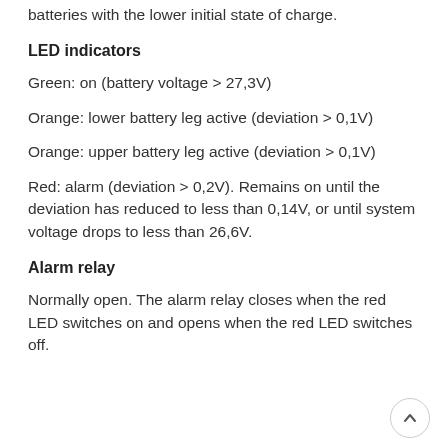batteries with the lower initial state of charge.
LED indicators
Green: on (battery voltage > 27,3V)
Orange: lower battery leg active (deviation > 0,1V)
Orange: upper battery leg active (deviation > 0,1V)
Red: alarm (deviation > 0,2V). Remains on until the deviation has reduced to less than 0,14V, or until system voltage drops to less than 26,6V.
Alarm relay
Normally open. The alarm relay closes when the red LED switches on and opens when the red LED switches off.